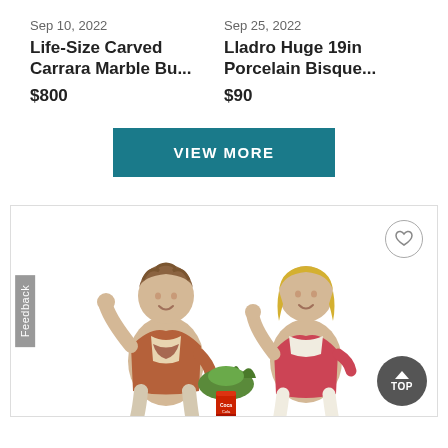Sep 10, 2022
Life-Size Carved Carrara Marble Bu...
$800
Sep 25, 2022
Lladro Huge 19in Porcelain Bisque...
$90
VIEW MORE
[Figure (photo): Porcelain bisque figurine of two children playing, with a Coca-Cola can visible at the base. Includes a heart/wishlist button and a TOP scroll button.]